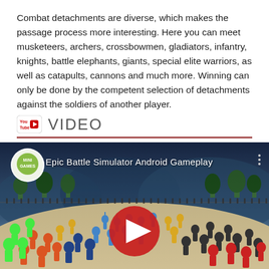Combat detachments are diverse, which makes the passage process more interesting. Here you can meet musketeers, archers, crossbowmen, gladiators, infantry, knights, battle elephants, giants, special elite warriors, as well as catapults, cannons and much more. Winning can only be done by the competent selection of detachments against the soldiers of another player.
VIDEO
[Figure (screenshot): YouTube video thumbnail showing Epic Battle Simulator Android Gameplay with colorful stick figure soldiers on a battlefield, featuring a YouTube play button overlay.]